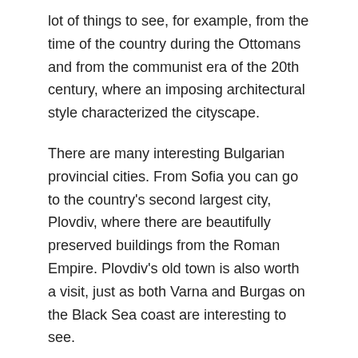lot of things to see, for example, from the time of the country during the Ottomans and from the communist era of the 20th century, where an imposing architectural style characterized the cityscape.
There are many interesting Bulgarian provincial cities. From Sofia you can go to the country's second largest city, Plovdiv, where there are beautifully preserved buildings from the Roman Empire. Plovdiv's old town is also worth a visit, just as both Varna and Burgas on the Black Sea coast are interesting to see.
Many people see Bulgaria on trips to the beautiful and child-friendly beaches that surround Burgas in the south and Varna in the north. The sea is warm in summer time, and lush Bulgaria offers fine ingredients for the country's tasty cuisine. Of course, the food can also be tasted in Bulgaria's cozy mountain towns, where you can also find